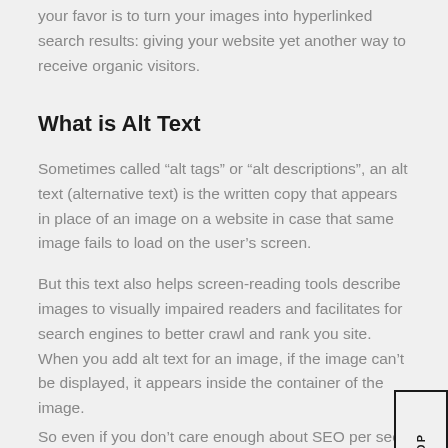your favor is to turn your images into hyperlinked search results: giving your website yet another way to receive organic visitors.
What is Alt Text
Sometimes called “alt tags” or “alt descriptions”, an alt text (alternative text) is the written copy that appears in place of an image on a website in case that same image fails to load on the user’s screen.
But this text also helps screen-reading tools describe images to visually impaired readers and facilitates for search engines to better crawl and rank you site. When you add alt text for an image, if the image can’t be displayed, it appears inside the container of the image.
So even if you don’t care enough about SEO per see,